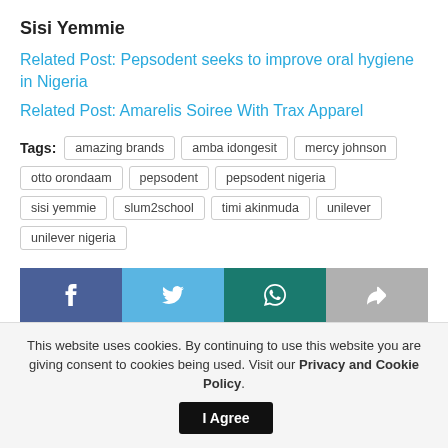Sisi Yemmie
Related Post: Pepsodent seeks to improve oral hygiene in Nigeria
Related Post: Amarelis Soiree With Trax Apparel
Tags: amazing brands  amba idongesit  mercy johnson  otto orondaam  pepsodent  pepsodent nigeria  sisi yemmie  slum2school  timi akinmuda  unilever  unilever nigeria
[Figure (other): Social share buttons: Facebook, Twitter, WhatsApp, Share]
This website uses cookies. By continuing to use this website you are giving consent to cookies being used. Visit our Privacy and Cookie Policy.
I Agree